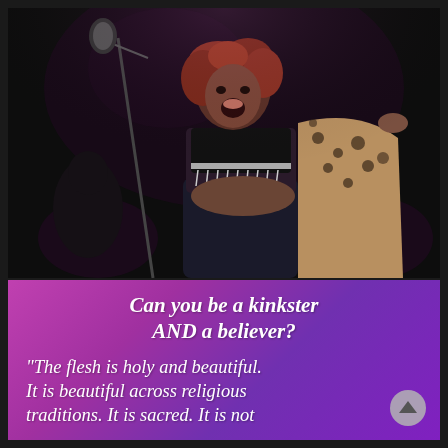[Figure (photo): A performer on stage, a woman with curly reddish hair, wearing a black sports bra with silver fringe and black jeans, holding open a leopard-print jacket, singing or shouting with her mouth open in front of a microphone stand. Dark stage background with audience visible.]
Can you be a kinkster AND a believer?
"The flesh is holy and beautiful. It is beautiful across religious traditions. It is sacred. It is not